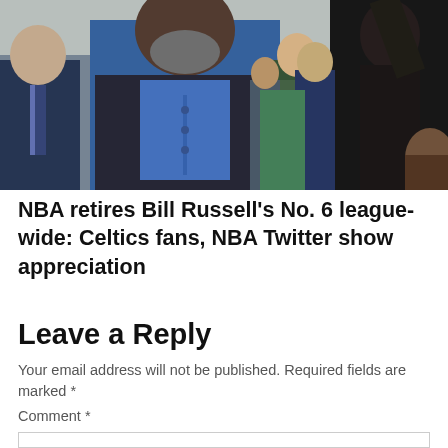[Figure (photo): A tall Black man in a blue shirt and dark blazer stands among a group of people, next to a dark bronze statue. Other attendees visible in the background at what appears to be an outdoor event under a tent.]
NBA retires Bill Russell’s No. 6 league-wide: Celtics fans, NBA Twitter show appreciation
Leave a Reply
Your email address will not be published. Required fields are marked *
Comment *